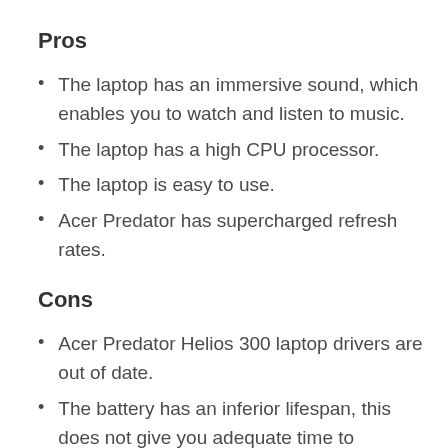Pros
The laptop has an immersive sound, which enables you to watch and listen to music.
The laptop has a high CPU processor.
The laptop is easy to use.
Acer Predator has supercharged refresh rates.
Cons
Acer Predator Helios 300 laptop drivers are out of date.
The battery has an inferior lifespan, this does not give you adequate time to complete your